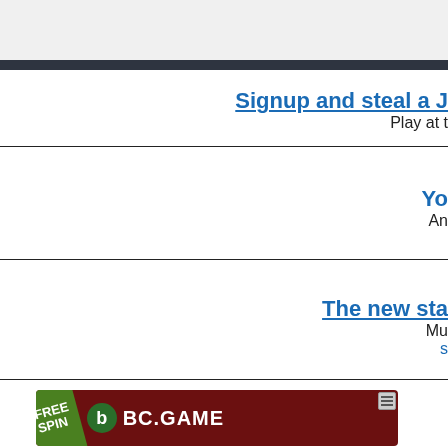Signup and steal a J
Play at t
Yo
An
The new sta
Mu
s
[Figure (screenshot): BC.GAME advertisement banner with FREE SPIN text on green diagonal, BC.GAME logo with green circle B icon on dark red background, and a small ad icon in top right corner.]